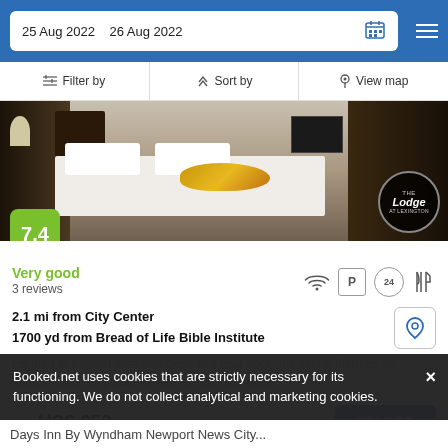25 Aug 2022  26 Aug 2022
Filter by  |  Sort by  |  View map
[Figure (photo): Hotel room photo showing a bed with white linens and gold decoration, dark wood furniture, with The Lodge hotel logo badge in the bottom right. Score badge showing 7.4 in green.]
Very good
3 reviews
2.1 mi from City Center
1700 yd from Bread of Life Bible Institute
Located in a resort area and close to a boat dock, the venue features an outdoor swimming pool as well as cots and meal...
from  US$ 253/night
SELECT
Booked.net uses cookies that are strictly necessary for its functioning. We do not collect analytical and marketing cookies.
Days Inn By Wyndham Newport News City...